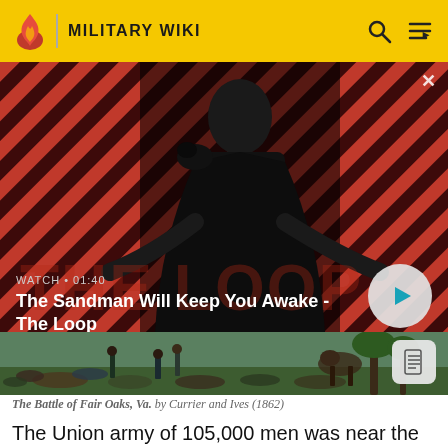MILITARY WIKI
[Figure (screenshot): Video promotional image showing a dark figure with a raven on shoulder against a red and black striped background. Text overlay: WATCH • 01:40 / The Sandman Will Keep You Awake - The Loop. Play button on right.]
[Figure (illustration): The Battle of Fair Oaks, Va. illustrated battle scene with fallen soldiers on a field, green and earthy tones, historical illustration style.]
The Battle of Fair Oaks, Va. by Currier and Ives (1862)
The Union army of 105,000 men was near the outskirts of